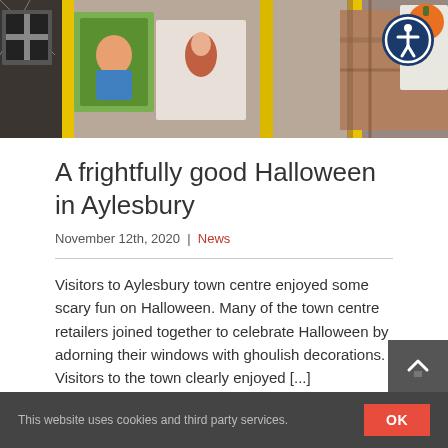[Figure (photo): Hero image of Halloween-themed shop window display with printed cushions and decorated merchandise, yellow frame visible]
A frightfully good Halloween in Aylesbury
November 12th, 2020 | News
Visitors to Aylesbury town centre enjoyed some scary fun on Halloween. Many of the town centre retailers joined together to celebrate Halloween by adorning their windows with ghoulish decorations. Visitors to the town clearly enjoyed [...]
Read More >
This website uses cookies and third party services. OK